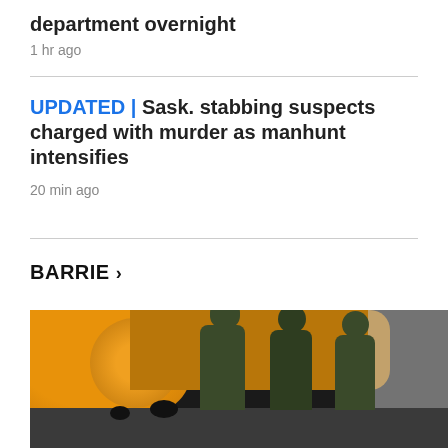department overnight
1 hr ago
UPDATED | Sask. stabbing suspects charged with murder as manhunt intensifies
20 min ago
BARRIE >
[Figure (photo): Military personnel in camouflage uniforms standing near a yellow aircraft (plane with orange/yellow nose) inside a hangar]